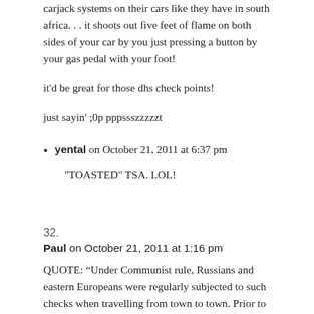carjack systems on their cars like they have in south africa. . . it shoots out five feet of flame on both sides of your car by you just pressing a button by your gas pedal with your foot!
it'd be great for those dhs check points!
just sayin' ;0p pppssszzzzzt
yental on October 21, 2011 at 6:37 pm
"TOASTED" TSA. LOL!
32.
Paul on October 21, 2011 at 1:16 pm
QUOTE: “Under Communist rule, Russians and eastern Europeans were regularly subjected to such checks when travelling from town to town. Prior to engaging in